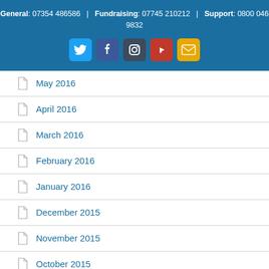General: 07354 486586 | Fundraising: 07745 210212 | Support: 0800 046 9832
May 2016
April 2016
March 2016
February 2016
January 2016
December 2015
November 2015
October 2015
September 2015
August 2015